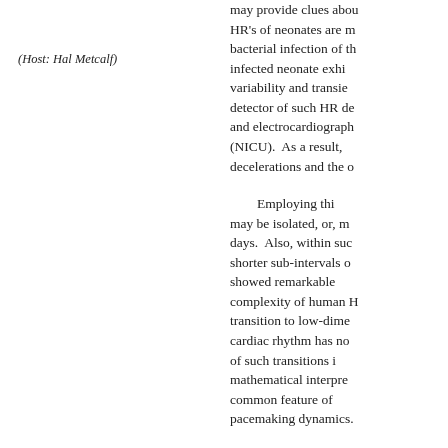(Host: Hal Metcalf)
may provide clues about HR's of neonates are m bacterial infection of the infected neonate exhib variability and transien detector of such HR dec and electrocardiographi (NICU). As a result, H decelerations and the on
Employing this may be isolated, or, mo days. Also, within such shorter sub-intervals of showed remarkable p complexity of human H transition to low-dimen cardiac rhythm has not of such transitions in mathematical interpreta common feature of m pacemaking dynamics.